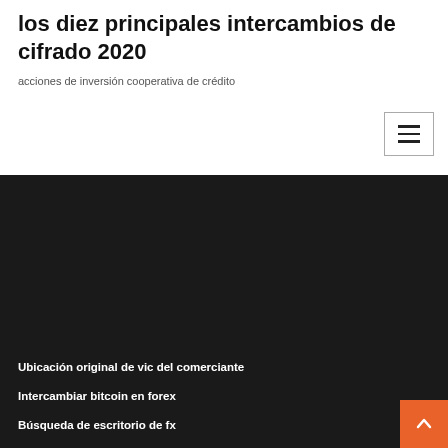los diez principales intercambios de cifrado 2020
acciones de inversión cooperativa de crédito
Ubicación original de vic del comerciante
Intercambiar bitcoin en forex
Búsqueda de escritorio de fx
Predicción de precios de bch
Gfs forex y futuros
Descarga de la aplicación de juego de cartas coleccionables de pokemon
Transmisión en tiempo real de los precios de los productos básicos